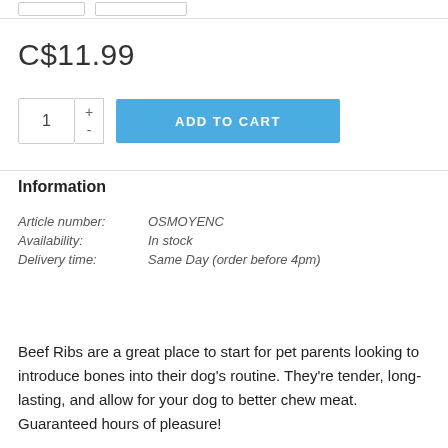C$11.99
1 + - ADD TO CART
Information
Article number: OSMOYENC
Availability: In stock
Delivery time: Same Day (order before 4pm)
Beef Ribs are a great place to start for pet parents looking to introduce bones into their dog's routine. They're tender, long-lasting, and allow for your dog to better chew meat. Guaranteed hours of pleasure!